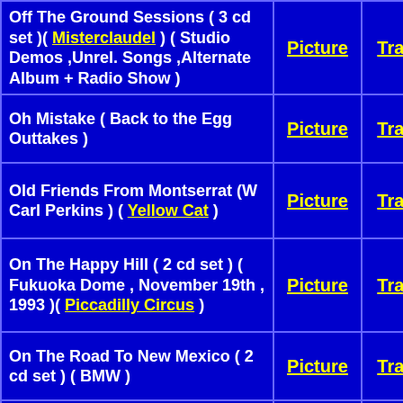| Title | Picture | Tracks |
| --- | --- | --- |
| Off The Ground Sessions ( 3 cd set )( Misterclaudel ) ( Studio Demos ,Unrel. Songs ,Alternate Album + Radio Show ) | Picture | Tracks |
| Oh Mistake  ( Back to the Egg Outtakes ) | Picture | Tracks |
| Old Friends From Montserrat (W Carl Perkins ) ( Yellow Cat ) | Picture | Tracks |
| On The Happy Hill ( 2 cd set ) ( Fukuoka Dome , November 19th , 1993 )( Piccadilly Circus ) | Picture | Tracks |
| On The Road To New Mexico  ( 2 cd set ) ( BMW ) | Picture | Tracks |
| On The Road To Rio  ( VOXX ) | Picture | Tracks |
| On The Run Italy 2011 ( 4CD SET )( Piccadilly Circus ) ( Bologna Italy Nov. 26th &  Milan Italy Nov. 27th 2011) | Picture | Tracks |
| On The Run Liverpool 2011 ( 3 CD ... | Picture | Tracks |